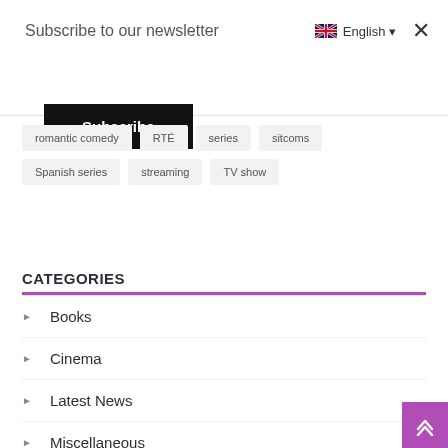Subscribe to our newsletter
English
Subscribe
romantic comedy
RTÉ
series
sitcoms
Spanish series
streaming
TV show
CATEGORIES
Books
Cinema
Latest News
Miscellaneous
Fashion